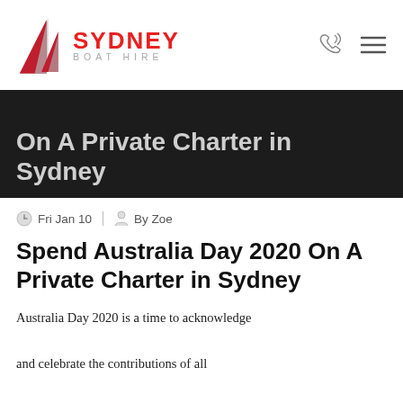Sydney Boat Hire
[Figure (logo): Sydney Boat Hire logo with red sail graphic and red SYDNEY text above grey BOAT HIRE text]
Spend Australia Day 2020 On A Private Charter in Sydney
Fri Jan 10 | By Zoe
Spend Australia Day 2020 On A Private Charter in Sydney
Australia Day 2020 is a time to acknowledge and celebrate the contributions of all Australians throughout history. It is a time to